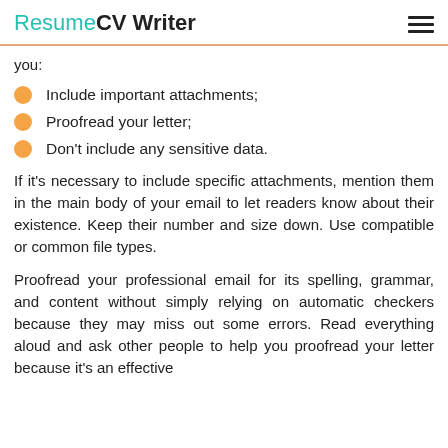ResumeCV Writer
you:
Include important attachments;
Proofread your letter;
Don't include any sensitive data.
If it's necessary to include specific attachments, mention them in the main body of your email to let readers know about their existence. Keep their number and size down. Use compatible or common file types.
Proofread your professional email for its spelling, grammar, and content without simply relying on automatic checkers because they may miss out some errors. Read everything aloud and ask other people to help you proofread your letter because it's an effective